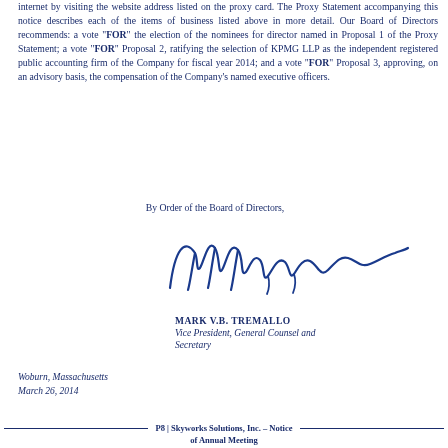internet by visiting the website address listed on the proxy card. The Proxy Statement accompanying this notice describes each of the items of business listed above in more detail. Our Board of Directors recommends: a vote "FOR" the election of the nominees for director named in Proposal 1 of the Proxy Statement; a vote "FOR" Proposal 2, ratifying the selection of KPMG LLP as the independent registered public accounting firm of the Company for fiscal year 2014; and a vote "FOR" Proposal 3, approving, on an advisory basis, the compensation of the Company's named executive officers.
By Order of the Board of Directors,
[Figure (other): Handwritten signature of Mark V.B. Tremallo in dark blue ink]
MARK V.B. TREMALLO
Vice President, General Counsel and
Secretary
Woburn, Massachusetts
March 26, 2014
P8 | Skyworks Solutions, Inc. – Notice of Annual Meeting